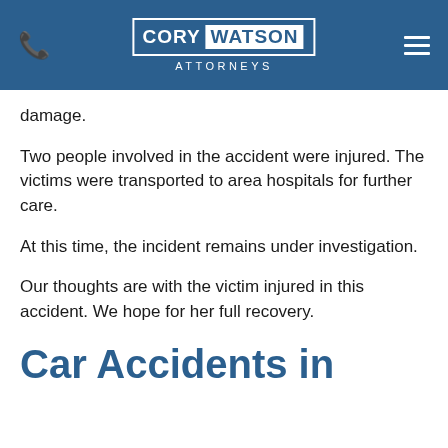CORY WATSON ATTORNEYS
damage.
Two people involved in the accident were injured. The victims were transported to area hospitals for further care.
At this time, the incident remains under investigation.
Our thoughts are with the victim injured in this accident. We hope for her full recovery.
Car Accidents in